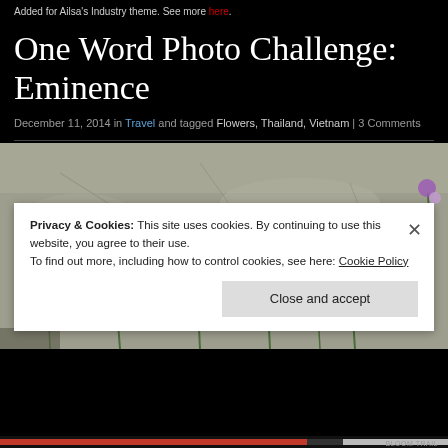Added for Ailsa's Industry theme. See more here.
One Word Photo Challenge: Eminence
December 11, 2014 in Travel and tagged Flowers, Thailand, Vietnam | 3 Comments
[Figure (photo): Purple wildflowers growing from sandy/concrete ground, photographed from a low angle showing multiple stems with thin green leaves and small purple blooms against a gray textured background]
Privacy & Cookies: This site uses cookies. By continuing to use this website, you agree to their use. To find out more, including how to control cookies, see here: Cookie Policy
Close and accept